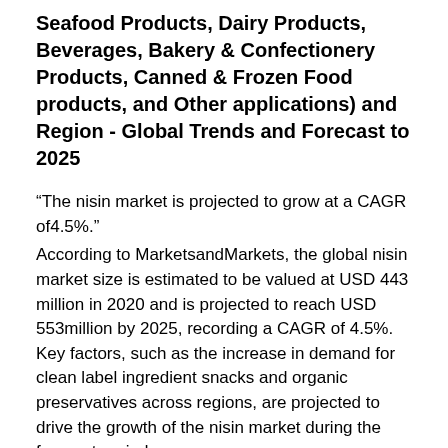Seafood Products, Dairy Products, Beverages, Bakery & Confectionery Products, Canned & Frozen Food products, and Other applications) and Region - Global Trends and Forecast to 2025
“The nisin market is projected to grow at a CAGR of4.5%.”
According to MarketsandMarkets, the global nisin market size is estimated to be valued at USD 443 million in 2020 and is projected to reach USD 553million by 2025, recording a CAGR of 4.5%. Key factors, such as the increase in demand for clean label ingredient snacks and organic preservatives across regions, are projected to drive the growth of the nisin market during the forecast period.